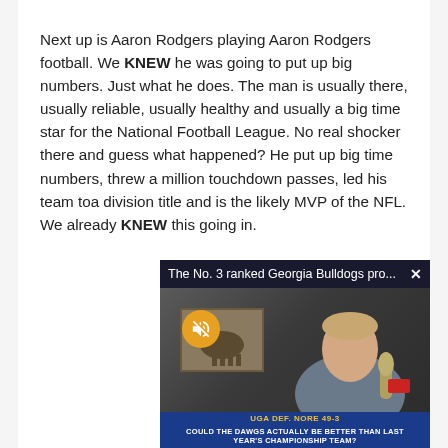Next up is Aaron Rodgers playing Aaron Rodgers football. We KNEW he was going to put up big numbers. Just what he does. The man is usually there, usually reliable, usually healthy and usually a big time star for the National Football League. No real shocker there and guess what happened? He put up big time numbers, threw a million touchdown passes, led his team toa division title and is the likely MVP of the NFL. We already KNEW this going in.
[Figure (screenshot): Embedded video player overlay showing a sports news anchor with title bar reading 'The No. 3 ranked Georgia Bulldogs pro...' and lower third graphic showing 'UGA DEF. NORE 49-3' and 'COULD THE DAWGS ACTUALLY BE BETTER THAN LAST YEAR'S CHAMPIONSHIP TEAM?'. A mute button icon is visible.]